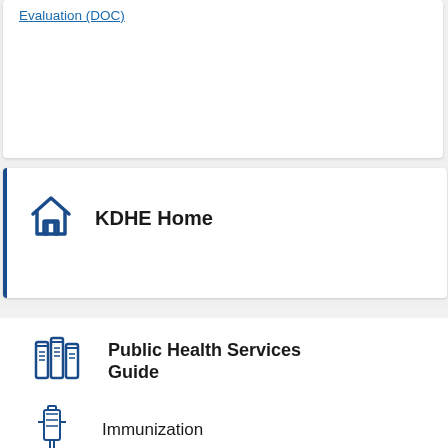Evaluation (DOC)
KDHE Home
Electronic Health Record Implementation Toolkit
Long-Term Care Facility Immunization Toolkit
Public Health Services Guide
Immunization